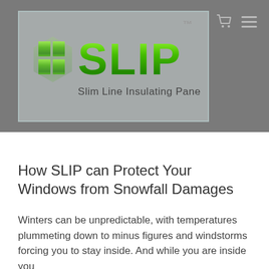[Figure (logo): SLIP logo — Slim Line Insulating Pane — green metallic text with window icon on a frosted glass panel against a gray background. Navigation icons (cart and hamburger menu) in top-right corner.]
How SLIP can Protect Your Windows from Snowfall Damages
Winters can be unpredictable, with temperatures plummeting down to minus figures and windstorms forcing you to stay inside. And while you are inside you